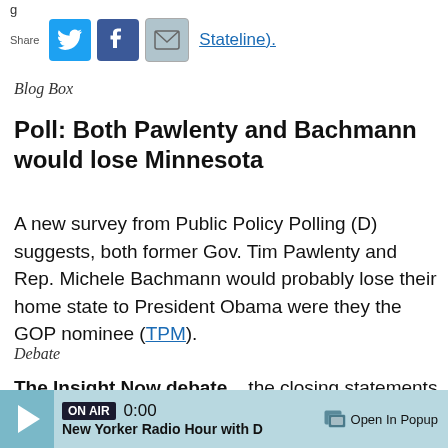Stateline).
Blog Box
Poll: Both Pawlenty and Bachmann would lose Minnesota
A new survey from Public Policy Polling (D) suggests, both former Gov. Tim Pawlenty and Rep. Michele Bachmann would probably lose their home state to President Obama were they the GOP nominee (TPM).
Debate
The Insight Now debate... the closing statements
ON AIR 0:00 New Yorker Radio Hour with D  Open In Popup